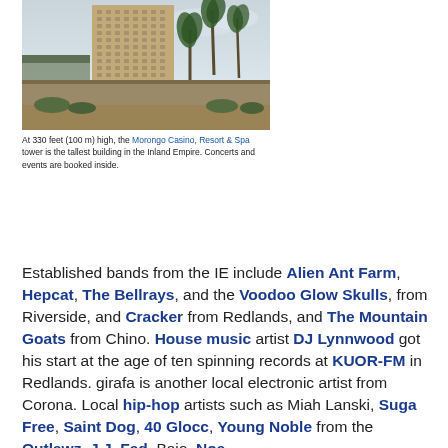[Figure (photo): Exterior view of Morongo Casino, Resort & Spa tower, a tall beige high-rise building with palm trees and desert landscaping in the foreground, overcast sky.]
At 330 feet (100 m) high, the Morongo Casino, Resort & Spa tower is the tallest building in the Inland Empire. Concerts and events are booked inside.
Established bands from the IE include Alien Ant Farm, Hepcat, The Bellrays, and the Voodoo Glow Skulls, from Riverside, and Cracker from Redlands, and The Mountain Goats from Chino. House music artist DJ Lynnwood got his start at the age of ten spinning records at KUOR-FM in Redlands. girafa is another local electronic artist from Corona. Local hip-hop artists such as Miah Lanski, Suga Free, Saint Dog, 40 Glocc, Young Noble from the Outlawz, J.J. Fad, Bajo, Noa...